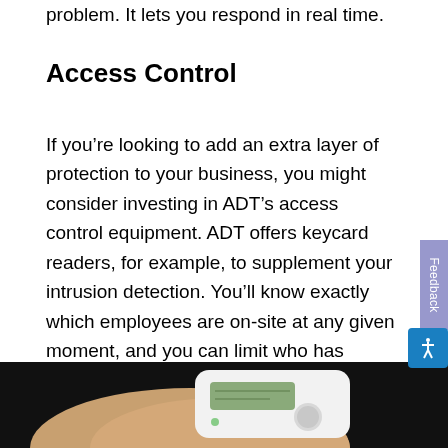problem. It lets you respond in real time.
Access Control
If you’re looking to add an extra layer of protection to your business, you might consider investing in ADT’s access control equipment. ADT offers keycard readers, for example, to supplement your intrusion detection. You’ll know exactly which employees are on-site at any given moment, and you can limit who has access to sensitive areas like the stockroom or management offices.
[Figure (photo): A hand holding a white keypad/access control device with a small LCD screen and a round button, against a dark background.]